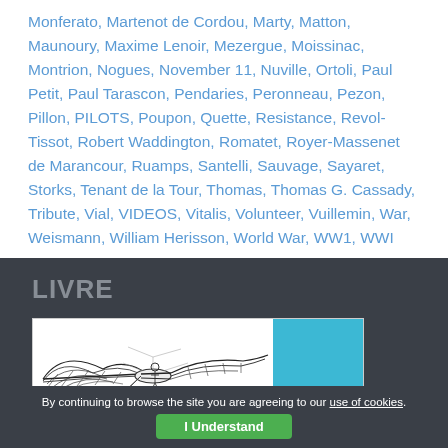Monferato, Martenot de Cordou, Marty, Matton, Maunoury, Maxime Lenoir, Mezergue, Moissinac, Montrion, Nogues, November 11, Nuville, Ortoli, Paul Petit, Paul Tarascon, Pendaries, Peronneau, Pezon, Pillon, PILOTS, Poupon, Quette, Resistance, Revol-Tissot, Robert Waddington, Romatet, Royer-Massenet de Marancour, Ruamps, Santelli, Sauvage, Sayaret, Storks, Tenant de la Tour, Thomas, Thomas G. Cassady, Tribute, Vial, VIDEOS, Vitalis, Volunteer, Vuillemin, War, Weismann, William Herisson, World War, WW1, WWI
LIVRE
[Figure (illustration): Black and white sketch of an early aircraft or ornithopter with wing-like structures, alongside a teal/blue colored panel with a partially visible logo in the bottom right corner.]
By continuing to browse the site you are agreeing to our use of cookies.